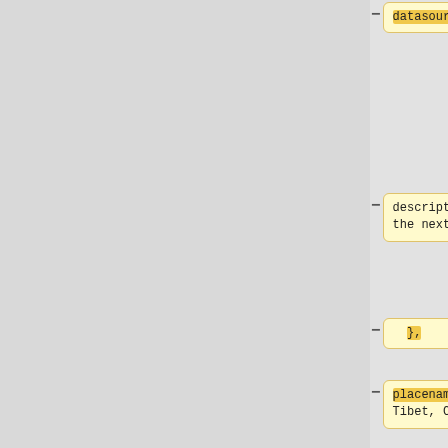[Figure (screenshot): Code diff view showing two columns. Left column (yellow) shows removed lines with minus signs, right column (blue) shows added lines with plus signs. Content includes: datasource:gis, description:No snow in the next hour}, },  placename:Nyima Nagqu Tibet China, on the left; code: 1303, ## code, adcode: 320100, (empty), alertId: 32010041600000_20181130104521, status (Chinese chars), title (Chinese chars) on the right.]